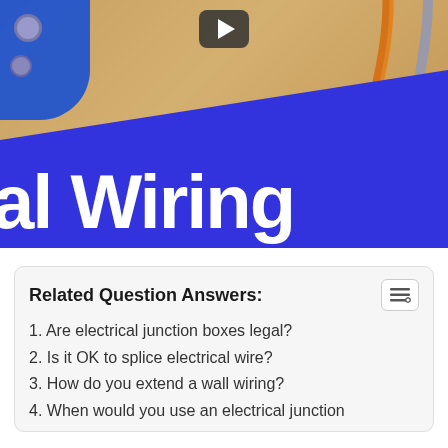[Figure (screenshot): Video thumbnail showing electrical wiring with blue junction box hardware in top-left, orange and gray wires on right, diagonal blue banner across lower half with large white bold text reading 'al Wiring' (partial title, left side cropped), and a play button icon at top center.]
Related Question Answers:
1. Are electrical junction boxes legal?
2. Is it OK to splice electrical wire?
3. How do you extend a wall wiring?
4. When would you use an electrical junction